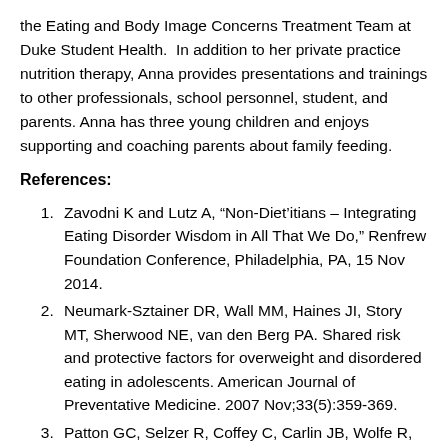the Eating and Body Image Concerns Treatment Team at Duke Student Health.  In addition to her private practice nutrition therapy, Anna provides presentations and trainings to other professionals, school personnel, student, and parents. Anna has three young children and enjoys supporting and coaching parents about family feeding.
References:
Zavodni K and Lutz A, “Non-Diet’itians – Integrating Eating Disorder Wisdom in All That We Do,” Renfrew Foundation Conference, Philadelphia, PA, 15 Nov 2014.
Neumark-Sztainer DR, Wall MM, Haines JI, Story MT, Sherwood NE, van den Berg PA. Shared risk and protective factors for overweight and disordered eating in adolescents. American Journal of Preventative Medicine. 2007 Nov;33(5):359-369.
Patton GC, Selzer R, Coffey C, Carlin JB, Wolfe R, Onset...